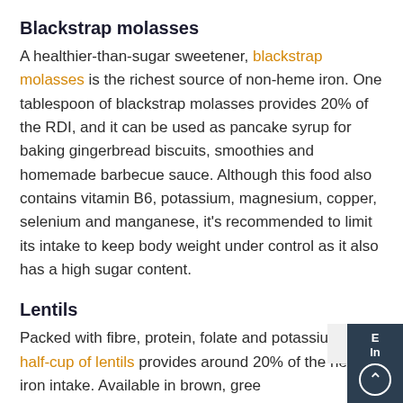Blackstrap molasses
A healthier-than-sugar sweetener, blackstrap molasses is the richest source of non-heme iron. One tablespoon of blackstrap molasses provides 20% of the RDI, and it can be used as pancake syrup for baking gingerbread biscuits, smoothies and homemade barbecue sauce. Although this food also contains vitamin B6, potassium, magnesium, copper, selenium and manganese, it's recommended to limit its intake to keep body weight under control as it also has a high sugar content.
Lentils
Packed with fibre, protein, folate and pota... a half-cup of lentils provides around 20% of needed iron intake. Available in brown, gree...